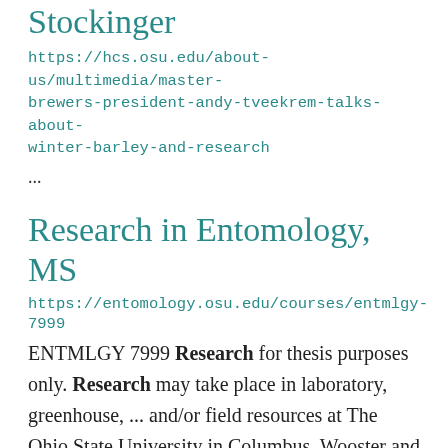Stockinger
https://hcs.osu.edu/about-us/multimedia/master-brewers-president-andy-tveekrem-talks-about-winter-barley-and-research
...
Research in Entomology, MS
https://entomology.osu.edu/courses/entmlgy-7999
ENTMLGY 7999 Research for thesis purposes only. Research may take place in laboratory, greenhouse, ... and/or field resources at The Ohio State University in Columbus, Wooster and other associated research ... areas as determined by student and instructor. Research may include experimental studies, revisional ...